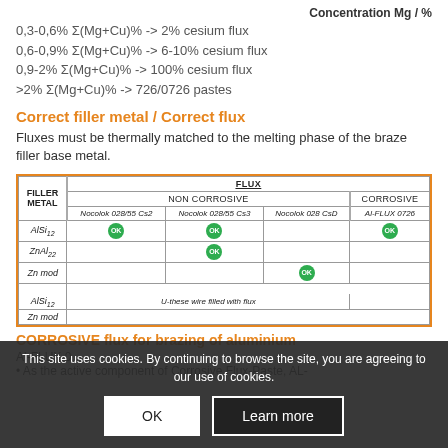Concentration Mg / %
0,3-0,6% Σ(Mg+Cu)% -> 2% cesium flux
0,6-0,9% Σ(Mg+Cu)% -> 6-10% cesium flux
0,9-2% Σ(Mg+Cu)% -> 100% cesium flux
>2% Σ(Mg+Cu)% -> 726/0726 pastes
Correct filler metal / Correct flux
Fluxes must be thermally matched to the melting phase of the braze filler base metal.
| FILLER METAL | FLUX - NON CORROSIVE - Nocolok 028/55 Cs2 | FLUX - NON CORROSIVE - Nocolok 028/55 Cs3 | FLUX - NON CORROSIVE - Nocolok 028 CsD | FLUX - CORROSIVE - Al-FLUX 0726 |
| --- | --- | --- | --- | --- |
| AlSi12 | OK | OK |  | OK |
| ZnAl22 |  | OK |  |  |
| Zn mod |  |  | OK |  |
| AlSi12 |  | U-these wire filled with flux |  |  |
| Zn mod |  |  |  |  |
CORROSIVE flux for brazing of aluminium...
Al-FLUX ...
• As the active component of Corrosive Flux-Paste, AL-